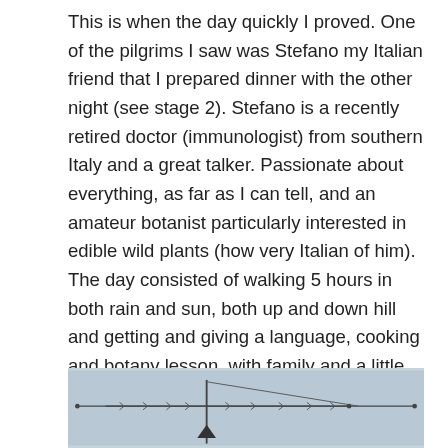This is when the day quickly I proved. One of the pilgrims I saw was Stefano my Italian friend that I prepared dinner with the other night (see stage 2). Stefano is a recently retired doctor (immunologist) from southern Italy and a great talker. Passionate about everything, as far as I can tell, and an amateur botanist particularly interested in edible wild plants (how very Italian of him). The day consisted of walking 5 hours in both rain and sun, both up and down hill and getting and giving a language, cooking and botany lesson, with family and a little politics on the side (in full agreement on all things political that came up). It was a 5 hour conversation with long periods of silence on some of my favorite subjects.
[Figure (photo): A photo showing what appears to be a stick or antenna structure against a light grey/blue sky background, with a dark triangular shape in the lower center.]